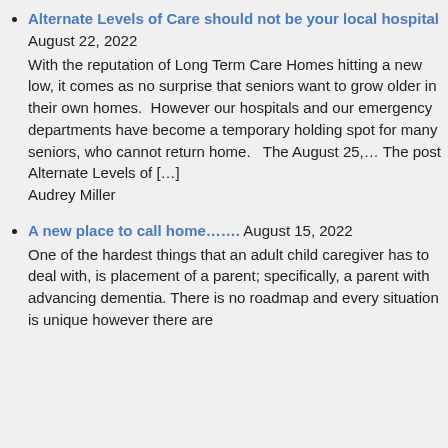Alternate Levels of Care should not be your local hospital August 22, 2022 With the reputation of Long Term Care Homes hitting a new low, it comes as no surprise that seniors want to grow older in their own homes.  However our hospitals and our emergency departments have become a temporary holding spot for many seniors, who cannot return home.   The August 25,... The post Alternate Levels of [...] Audrey Miller
A new place to call home……. August 15, 2022 One of the hardest things that an adult child caregiver has to deal with, is placement of a parent; specifically, a parent with advancing dementia. There is no roadmap and every situation is unique however there are